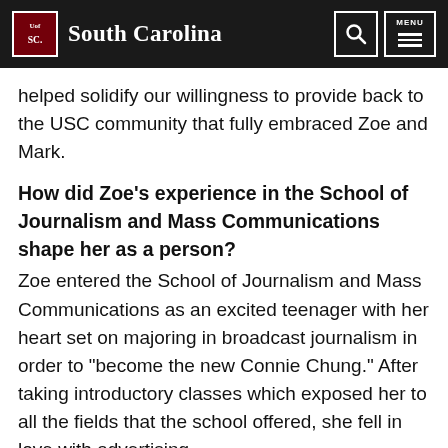University of South Carolina
helped solidify our willingness to provide back to the USC community that fully embraced Zoe and Mark.
How did Zoe's experience in the School of Journalism and Mass Communications shape her as a person?
Zoe entered the School of Journalism and Mass Communications as an excited teenager with her heart set on majoring in broadcast journalism in order to "become the new Connie Chung." After taking introductory classes which exposed her to all the fields that the school offered, she fell in love with advertising.
She enjoyed the challenges of her classes and was successful on being named to both the Dean's and President's Lists. Zoe